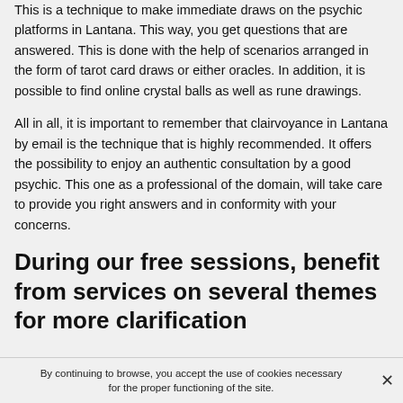This is a technique to make immediate draws on the psychic platforms in Lantana. This way, you get questions that are answered. This is done with the help of scenarios arranged in the form of tarot card draws or either oracles. In addition, it is possible to find online crystal balls as well as rune drawings.
All in all, it is important to remember that clairvoyance in Lantana by email is the technique that is highly recommended. It offers the possibility to enjoy an authentic consultation by a good psychic. This one as a professional of the domain, will take care to provide you right answers and in conformity with your concerns.
During our free sessions, benefit from services on several themes for more clarification
By continuing to browse, you accept the use of cookies necessary for the proper functioning of the site.